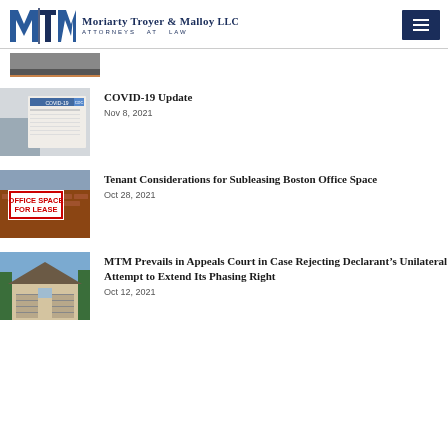Moriarty Troyer & Malloy LLC — Attorneys at Law
[Figure (photo): COVID-19 vaccine card being held by a person]
COVID-19 Update
Nov 8, 2021
[Figure (photo): Office Space For Lease sign on a brick building]
Tenant Considerations for Subleasing Boston Office Space
Oct 28, 2021
[Figure (photo): Residential townhouse exterior]
MTM Prevails in Appeals Court in Case Rejecting Declarant’s Unilateral Attempt to Extend Its Phasing Right
Oct 12, 2021